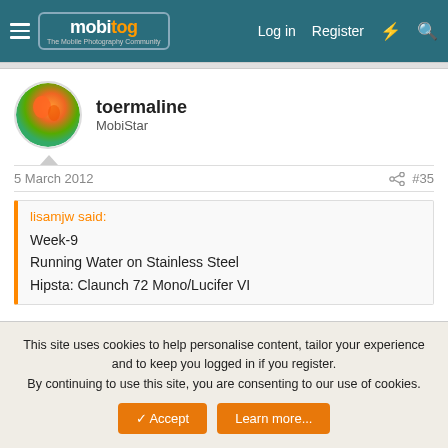mobitog — The Mobile Photography Community | Log in  Register
toermaline
MobiStar
5 March 2012  #35
lisamjw said:

Week-9
Running Water on Stainless Steel
Hipsta: Claunch 72 Mono/Lucifer VI
Very creative Lisa, love it!
This site uses cookies to help personalise content, tailor your experience and to keep you logged in if you register.
By continuing to use this site, you are consenting to our use of cookies.
Accept   Learn more...